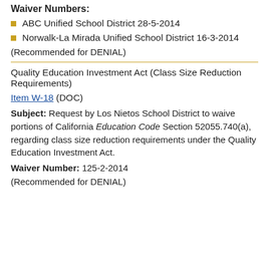Waiver Numbers:
ABC Unified School District 28-5-2014
Norwalk-La Mirada Unified School District 16-3-2014
(Recommended for DENIAL)
Quality Education Investment Act (Class Size Reduction Requirements)
Item W-18 (DOC)
Subject: Request by Los Nietos School District to waive portions of California Education Code Section 52055.740(a), regarding class size reduction requirements under the Quality Education Investment Act.
Waiver Number: 125-2-2014
(Recommended for DENIAL)